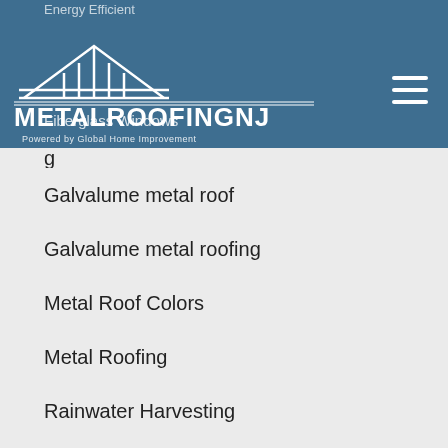METALROOFINGNJ — Powered by Global Home Improvement
Galvalume metal roof
Galvalume metal roofing
Metal Roof Colors
Metal Roofing
Rainwater Harvesting
Replacement Windows
Roofing
Uncategorized
RECENT POSTS